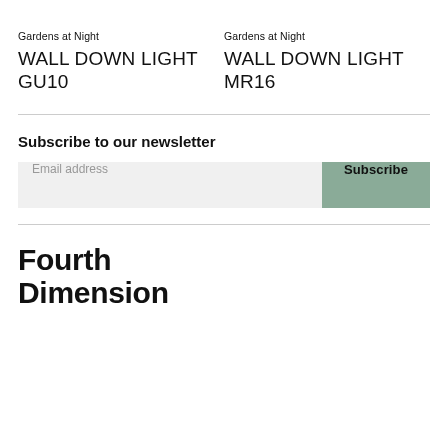Gardens at Night
WALL DOWN LIGHT GU10
Gardens at Night
WALL DOWN LIGHT MR16
Subscribe to our newsletter
Email address
Subscribe
Fourth Dimension